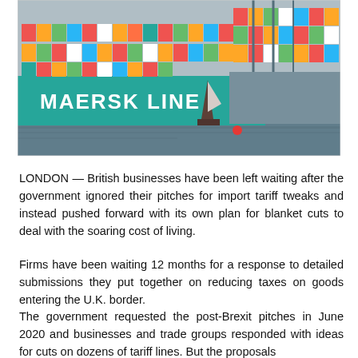[Figure (photo): Maersk Line container ship loaded with stacked colorful shipping containers at a port, with a smaller traditional sailing vessel in the foreground on the water.]
LONDON — British businesses have been left waiting after the government ignored their pitches for import tariff tweaks and instead pushed forward with its own plan for blanket cuts to deal with the soaring cost of living.
Firms have been waiting 12 months for a response to detailed submissions they put together on reducing taxes on goods entering the U.K. border.
The government requested the post-Brexit pitches in June 2020 and businesses and trade groups responded with ideas for cuts on dozens of tariff lines. But the proposals